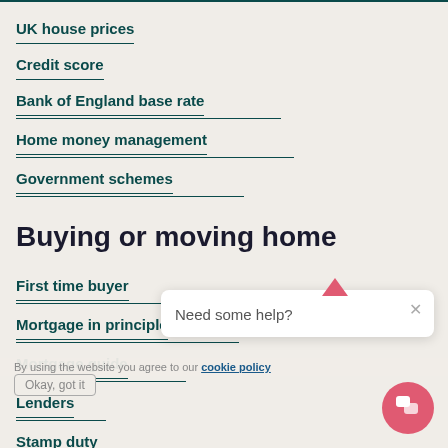UK house prices
Credit score
Bank of England base rate
Home money management
Government schemes
Buying or moving home
First time buyer
Mortgage in principle
Mortgage guide
Lenders
Stamp duty
How to buy a home
Need some help?
By using the website you agree to our cookie policy
Okay, got it